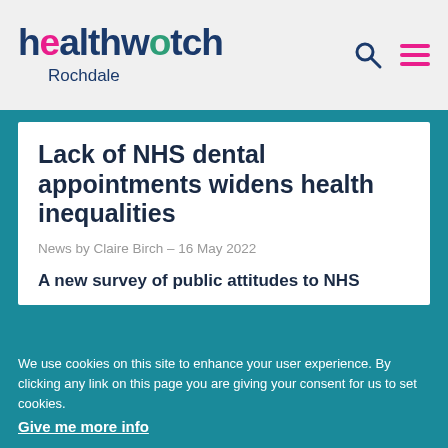[Figure (logo): Healthwatch Rochdale logo with pink dot on 'e' and green dot on 'o']
Healthwatch Rochdale
Lack of NHS dental appointments widens health inequalities
News by Claire Birch – 16 May 2022
A new survey of public attitudes to NHS
We use cookies on this site to enhance your user experience. By clicking any link on this page you are giving your consent for us to set cookies. Give me more info